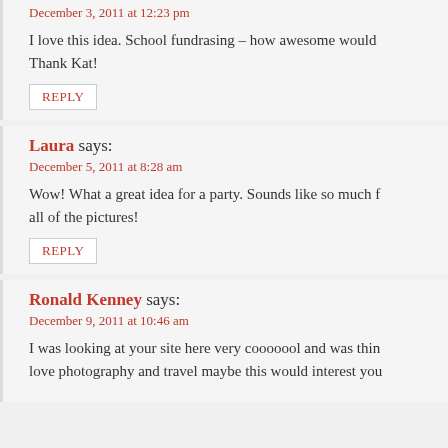December 3, 2011 at 12:23 pm
I love this idea. School fundrasing – how awesome would Thank Kat!
REPLY
Laura says:
December 5, 2011 at 8:28 am
Wow! What a great idea for a party. Sounds like so much f all of the pictures!
REPLY
Ronald Kenney says:
December 9, 2011 at 10:46 am
I was looking at your site here very cooooool and was thin love photography and travel maybe this would interest you